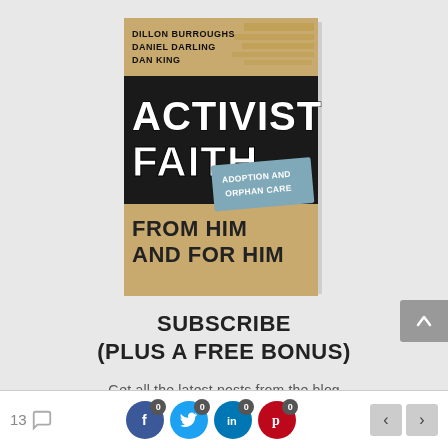[Figure (illustration): Book cover of 'Activist Faith: Adoption and Orphan Care, From Him and For Him' by Dillon Burroughs, Daniel Darling, Dan King. Tan/kraft paper background with bold black and white typography.]
SUBSCRIBE
(PLUS A FREE BONUS)
Get all the latest posts from the blog
13 comments | 0 Facebook shares | 0 Twitter shares | 0 LinkedIn shares | 0 Pinterest shares